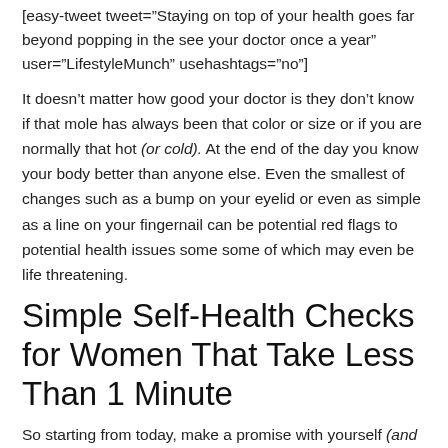[easy-tweet tweet="Staying on top of your health goes far beyond popping in the see your doctor once a year" user="LifestyleMunch" usehashtags="no"]
It doesn't matter how good your doctor is they don't know if that mole has always been that color or size or if you are normally that hot (or cold). At the end of the day you know your body better than anyone else. Even the smallest of changes such as a bump on your eyelid or even as simple as a line on your fingernail can be potential red flags to potential health issues some some of which may even be life threatening.
Simple Self-Health Checks for Women That Take Less Than 1 Minute
So starting from today, make a promise with yourself (and your body) to start doing some simple self-heath checks  and to be